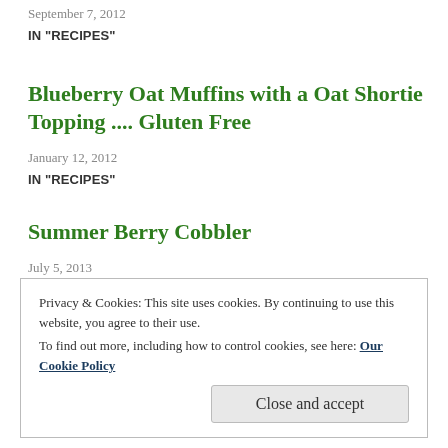September 7, 2012
IN "RECIPES"
Blueberry Oat Muffins with a Oat Shortie Topping .... Gluten Free
January 12, 2012
IN "RECIPES"
Summer Berry Cobbler
July 5, 2013
IN "RECIPES"
Privacy & Cookies: This site uses cookies. By continuing to use this website, you agree to their use. To find out more, including how to control cookies, see here: Our Cookie Policy
Close and accept